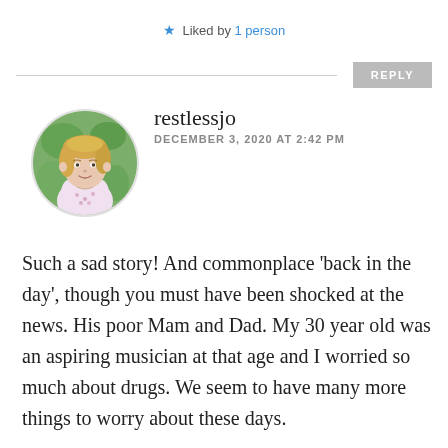★ Liked by 1 person
REPLY
[Figure (photo): Circular avatar photo of a woman with blonde hair wearing a floral blouse, outdoors with green foliage background]
restlessjo
DECEMBER 3, 2020 AT 2:42 PM
Such a sad story! And commonplace 'back in the day', though you must have been shocked at the news. His poor Mam and Dad. My 30 year old was an aspiring musician at that age and I worried so much about drugs. We seem to have many more things to worry about these days.